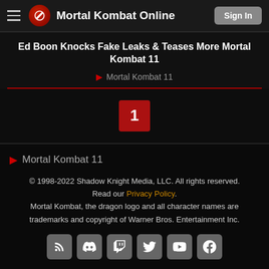Mortal Kombat Online
Ed Boon Knocks Fake Leaks & Teases More Mortal Kombat 11
Mortal Kombat 11
[Figure (infographic): Red square with white number 1, pagination indicator]
Mortal Kombat 11
© 1998-2022 Shadow Knight Media, LLC. All rights reserved. Read our Privacy Policy. Mortal Kombat, the dragon logo and all character names are trademarks and copyright of Warner Bros. Entertainment Inc.
[Figure (infographic): Row of social media icons: RSS, Discord, Twitch, Twitter, YouTube, Facebook]